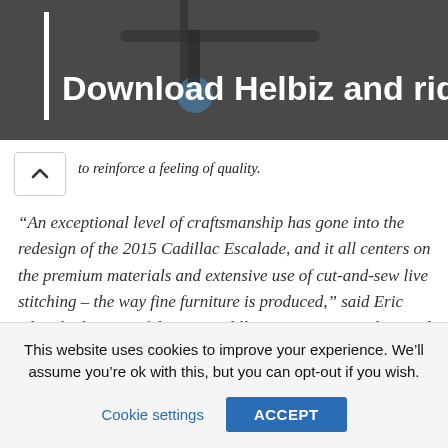[Figure (photo): Banner image showing a bicycle handlebar/scooter with dark background and white text overlay reading 'Download Helbiz and ride']
Download Helbiz and ride
to reinforce a feeling of quality.
“An exceptional level of craftsmanship has gone into the redesign of the 2015 Cadillac Escalade, and it all centers on the premium materials and extensive use of cut-and-sew live stitching – the way fine furniture is produced,” said Eric Clough, director of design, Cadillac Interiors. “We designed Escalade with what we call the beauty of contrast. It offers a distinctive combination of bold, truck-like character, but also the refinement of the Cadillac form vocabulary and technology.”
This website uses cookies to improve your experience. We’ll assume you’re ok with this, but you can opt-out if you wish.